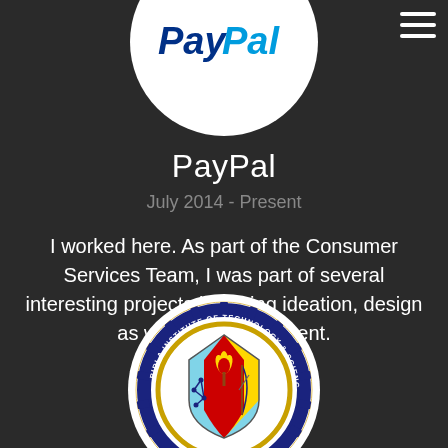[Figure (logo): PayPal logo in white circle at top of page]
PayPal
July 2014 - Present
I worked here. As part of the Consumer Services Team, I was part of several interesting projects involving ideation, design as well as development.
[Figure (logo): Birla Institute of Technology & Science, Pilani circular emblem/crest with gear border, divided shield with lotus flower, torch, and bow-arrow symbols, and text 'ज्ञानं परमं बलम्' at bottom]